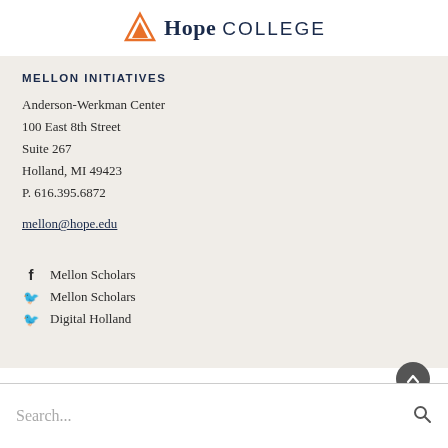[Figure (logo): Hope College logo with orange triangle/mountain mark, bold serif 'Hope' and sans-serif 'COLLEGE' in dark navy]
MELLON INITIATIVES
Anderson-Werkman Center
100 East 8th Street
Suite 267
Holland, MI 49423
P. 616.395.6872
mellon@hope.edu
Mellon Scholars
Mellon Scholars
Digital Holland
Search...